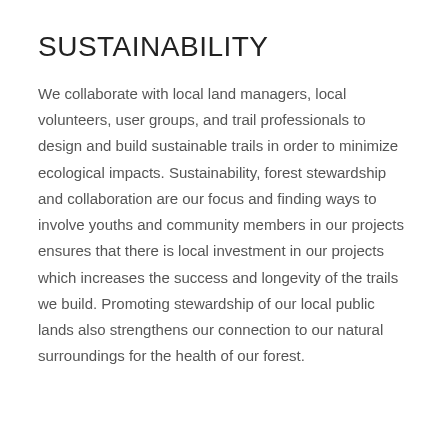SUSTAINABILITY
We collaborate with local land managers, local volunteers, user groups, and trail professionals to design and build sustainable trails in order to minimize ecological impacts. Sustainability, forest stewardship and collaboration are our focus and finding ways to involve youths and community members in our projects ensures that there is local investment in our projects which increases the success and longevity of the trails we build. Promoting stewardship of our local public lands also strengthens our connection to our natural surroundings for the health of our forest.